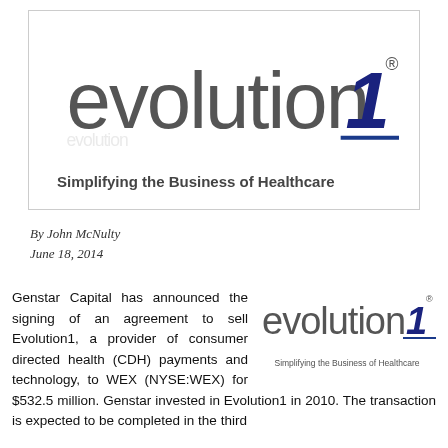[Figure (logo): Evolution1 logo — stylized 'evolution1' wordmark in dark gray with a blue numeral 1, and tagline 'Simplifying the Business of Healthcare' below]
By John McNulty
June 18, 2014
Genstar Capital has announced the signing of an agreement to sell Evolution1, a provider of consumer directed health (CDH) payments and technology, to WEX (NYSE:WEX) for $532.5 million. Genstar invested in Evolution1 in 2010. The transaction is expected to be completed in the third